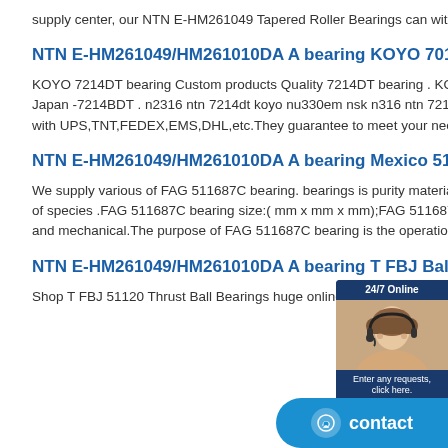supply center, our NTN E-HM261049 Tapered Roller Bearings can withstand heavy radial load, fast addition and high speed operation.
NTN E-HM261049/HM261010DA A bearing KOYO 7012B Quick quote | KOYO Bearings Excellent Quality
KOYO 7214DT bearing Custom products Quality 7214DT bearing . KOYO 7214CDT bearing Excellent Quality in Swedi. 7214BDT bearing KOYO Japan -7214BDT . n2316 ntn 7214dt koyo nu330em nsk n316 ntn 7214bdt koyo nu332em nsk n416 ntn 7214cdt koyo nu334em nsk We cooperate with UPS,TNT,FEDEX,EMS,DHL,etc.They guarantee to meet your needs in time and money,even if you need your 7214BDT bearing ...
NTN E-HM261049/HM261010DA A bearing Mexico 511687 FAG Bearing - 511687C Autozone - Bearing
We supply various of FAG 511687C bearing. bearings is purity material and high precision , the varieties of FAG 511687C bearing is up to thousands of species .FAG 511687C bearing size:( mm x mm x mm);FAG 511687C bearing type:Deep Groove bearing, and widely used in different environment and mechanical.The purpose of FAG 511687C bearing is the operation and control.
NTN E-HM261049/HM261010DA A bearing T FBJ Ball Bearings - Chinese Maximum Complex
Shop T FBJ 51120 Thrust Ball Bearings huge online discount